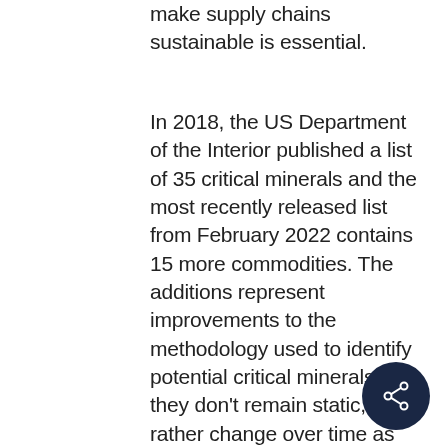make supply chains sustainable is essential.
In 2018, the US Department of the Interior published a list of 35 critical minerals and the most recently released list from February 2022 contains 15 more commodities. The additions represent improvements to the methodology used to identify potential critical minerals as they don't remain static, but rather change over time as supply and demand dynamics change and import reliance shifts. For example, rare earth elements and platinum group elements have become individual entries rather than being included in “mineral groups” on the updated list. Meanwhile, helium, potash, rhenium and strontium have been
[Figure (other): Dark navy circular share button with a share/network icon in white, positioned in the lower right area of the page]